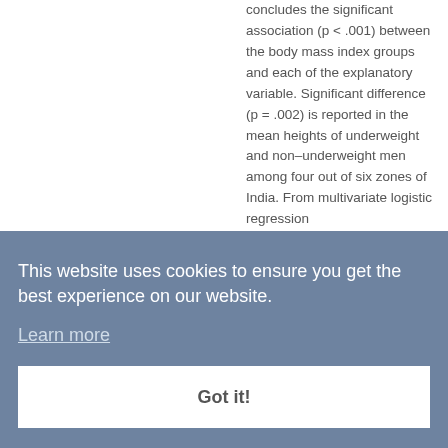concludes the significant association (p < .001) between the body mass index groups and each of the explanatory variable. Significant difference (p = .002) is reported in the mean heights of underweight and non–underweight men among four out of six zones of India. From multivariate logistic regression
This website uses cookies to ensure you get the best experience on our website.
Learn more
Got it!